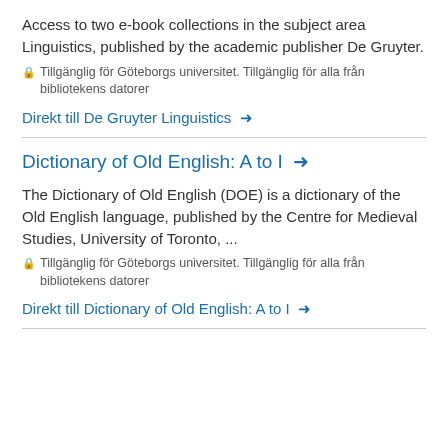Access to two e-book collections in the subject area Linguistics, published by the academic publisher De Gruyter.
🔒 Tillgänglig för Göteborgs universitet. Tillgänglig för alla från bibliotekens datorer
Direkt till De Gruyter Linguistics →
Dictionary of Old English: A to I →
The Dictionary of Old English (DOE) is a dictionary of the Old English language, published by the Centre for Medieval Studies, University of Toronto, ...
🔒 Tillgänglig för Göteborgs universitet. Tillgänglig för alla från bibliotekens datorer
Direkt till Dictionary of Old English: A to I →